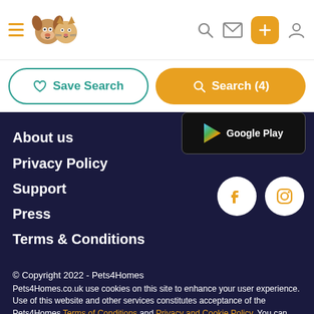Pets4Homes navigation header with hamburger menu, logo, search icon, mail icon, add button, and user icon
Save Search
Search (4)
[Figure (screenshot): Partial Google Play badge]
About us
Privacy Policy
Support
Press
Terms & Conditions
[Figure (logo): Facebook and Instagram social media icons in white circles on dark background]
© Copyright 2022 - Pets4Homes
Pets4Homes.co.uk use cookies on this site to enhance your user experience. Use of this website and other services constitutes acceptance of the Pets4Homes Terms of Conditions and Privacy and Cookie Policy. You can Manage Preferences at any time.